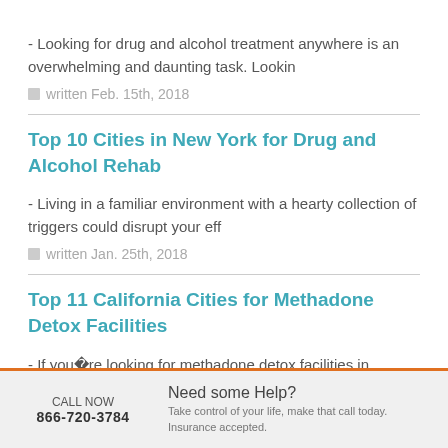- Looking for drug and alcohol treatment anywhere is an overwhelming and daunting task. Lookin
written Feb. 15th, 2018
Top 10 Cities in New York for Drug and Alcohol Rehab
- Living in a familiar environment with a hearty collection of triggers could disrupt your eff
written Jan. 25th, 2018
Top 11 California Cities for Methadone Detox Facilities
- If you�re looking for methadone detox facilities in California, you�re in luck. All across t
CALL NOW 866-720-3784 | Need some Help? Take control of your life, make that call today. Insurance accepted.